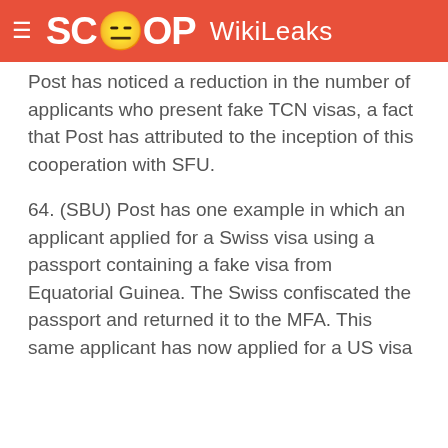SCOOP WikiLeaks
Post has noticed a reduction in the number of applicants who present fake TCN visas, a fact that Post has attributed to the inception of this cooperation with SFU.
64. (SBU) Post has one example in which an applicant applied for a Swiss visa using a passport containing a fake visa from Equatorial Guinea. The Swiss confiscated the passport and returned it to the MFA. This same applicant has now applied for a US visa